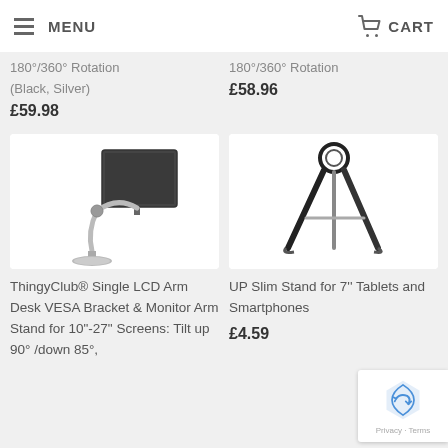MENU | CART
180°/360° Rotation (Black, Silver)
£59.98
180°/360° Rotation
£58.96
[Figure (photo): ThingyClub Single LCD Arm Desk VESA Bracket monitor arm stand product photo on white background]
[Figure (photo): UP Slim Stand for 7 inch tablets and smartphones product photo showing black tripod-style stand on white background]
ThingyClub® Single LCD Arm Desk VESA Bracket & Monitor Arm Stand for 10"-27" Screens: Tilt up 90° /down 85°,
UP Slim Stand for 7'' Tablets and Smartphones
£4.59